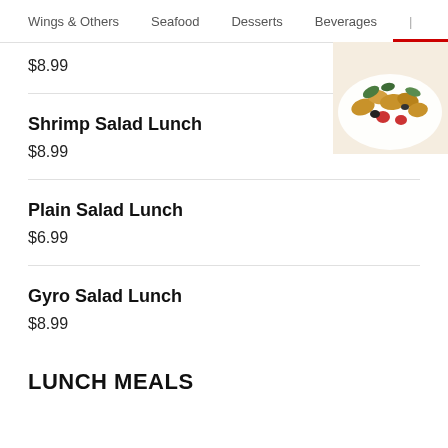Wings & Others   Seafood   Desserts   Beverages
[Figure (photo): Food photo showing shrimp/seafood dish on a white plate with garnish, partially visible in top right corner]
$8.99
Shrimp Salad Lunch
$8.99
Plain Salad Lunch
$6.99
Gyro Salad Lunch
$8.99
LUNCH MEALS